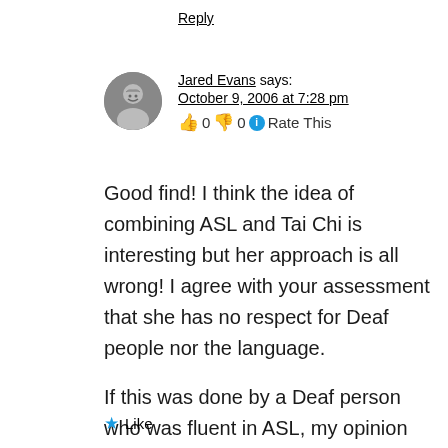Reply
Jared Evans says:
October 9, 2006 at 7:28 pm
👍 0 👎 0 ℹ️ Rate This
[Figure (photo): Circular avatar photo of Jared Evans, a man with a beard]
Good find! I think the idea of combining ASL and Tai Chi is interesting but her approach is all wrong! I agree with your assessment that she has no respect for Deaf people nor the language.

If this was done by a Deaf person who was fluent in ASL, my opinion might change.
★ Like